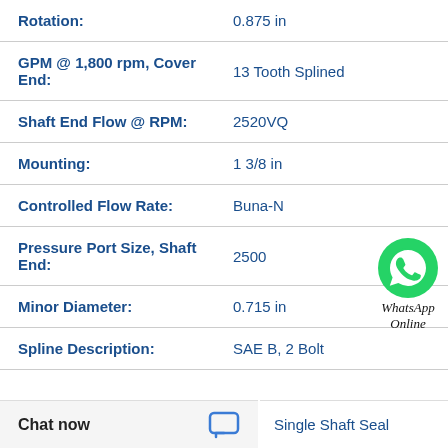| Property | Value |
| --- | --- |
| Rotation: | 0.875 in |
| GPM @ 1,800 rpm, Cover End: | 13 Tooth Splined |
| Shaft End Flow @ RPM: | 2520VQ |
| Mounting: | 1 3/8 in |
| Controlled Flow Rate: | Buna-N |
| Pressure Port Size, Shaft End: | 2500 |
| Minor Diameter: | 0.715 in |
| Spline Description: | SAE B, 2 Bolt |
[Figure (logo): WhatsApp Online logo with green phone icon and text 'WhatsApp Online' in italic]
Single Shaft Seal
Chat now